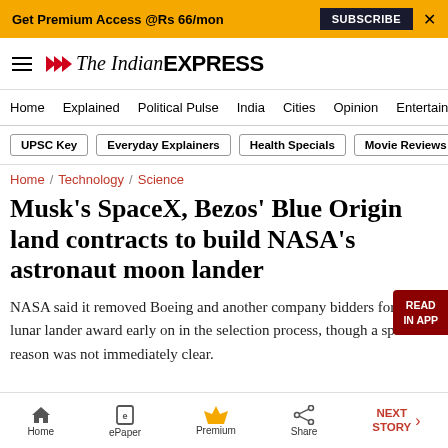Get Premium Access @Rs 66/mon  SUBSCRIBE  ×
The Indian EXPRESS
Home  Explained  Political Pulse  India  Cities  Opinion  Entertainment
UPSC Key  Everyday Explainers  Health Specials  Movie Reviews
Home / Technology / Science
Musk's SpaceX, Bezos' Blue Origin land contracts to build NASA's astronaut moon lander
NASA said it removed Boeing and another company bidders for the lunar lander award early on in the selection process, though a specific reason was not immediately clear.
Home  ePaper  Premium  Share  NEXT STORY →